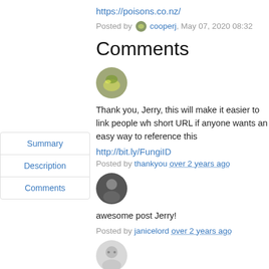https://poisons.co.nz/
Posted by cooperj, May 07, 2020 08:32
Comments
[Figure (photo): Round avatar with green/yellow creature image]
Thank you, Jerry, this will make it easier to link people wh short URL if anyone wants an easy way to reference this
http://bit.ly/FungiID
Posted by thankyou over 2 years ago
[Figure (photo): Round avatar with person/dark figure image]
awesome post Jerry!
Posted by janicelord over 2 years ago
[Figure (photo): Round default grey avatar]
really cool post. I'd love to know if there's any particular us laymon can be useful photographing?
Summary
Description
Comments